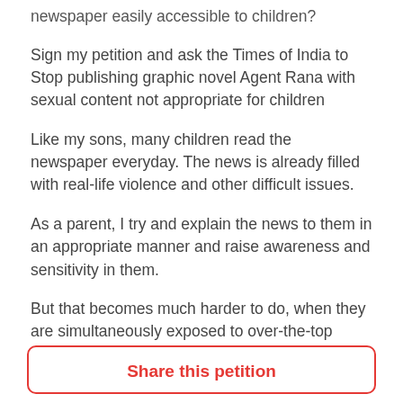newspaper easily accessible to children?
Sign my petition and ask the Times of India to Stop publishing graphic novel Agent Rana with sexual content not appropriate for children
Like my sons, many children read the newspaper everyday. The news is already filled with real-life violence and other difficult issues.
As a parent, I try and explain the news to them in an appropriate manner and raise awareness and sensitivity in them.
But that becomes much harder to do, when they are simultaneously exposed to over-the-top fictional and sexualised content.
Share this petition